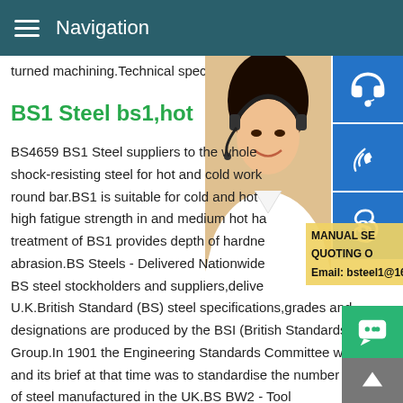Navigation
turned machining.Technical specification -
BS1 Steel bs1,hot
BS4659 BS1 Steel suppliers to the whole shock-resisting steel for hot and cold work round bar.BS1 is suitable for cold and hot high fatigue strength in and medium hot ha treatment of BS1 provides depth of hardne abrasion.BS Steels - Delivered Nationwide BS steel stockholders and suppliers,delive U.K.British Standard (BS) steel specifications,grades and designations are produced by the BSI (British Standards Institute) Group.In 1901 the Engineering Standards Committee was set and its brief at that time was to standardise the number and ty of steel manufactured in the UK.BS BW2 - Tool Steel DIN17006 DIN EN W-Nr ISO JIS BS BS EN BS BW2 da
[Figure (photo): Customer service representative with headset]
[Figure (infographic): Blue icon buttons: headset/support, phone, Skype]
MANUAL SE QUOTING O Email: bsteel1@163.com
[Figure (infographic): Green chat bubble button]
[Figure (infographic): Grey scroll-to-top button with up arrow]